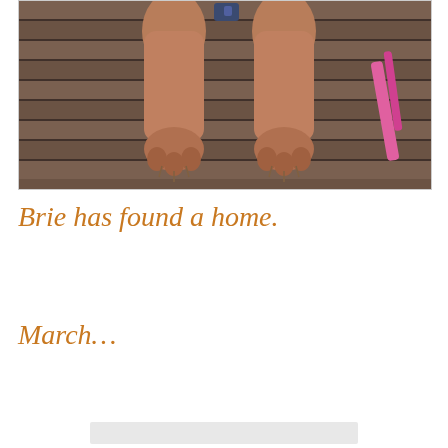[Figure (photo): Close-up photo of a dog's front paws and legs resting on wooden deck planks. A pink collar/leash is visible on the right side. The dog appears to be a Vizsla or similar brown/tan breed.]
Brie has found a home.
March…